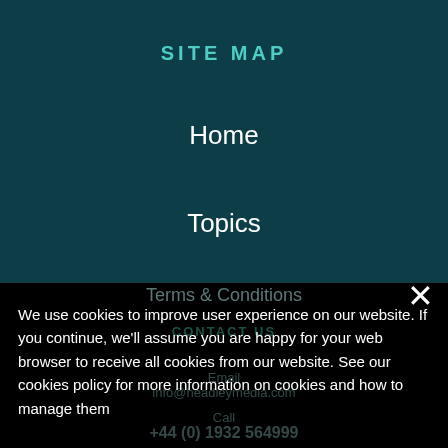SITE MAP
Home
Topics
Companies A-Z
Latest Whitepapers
Privacy
Terms & Conditions
CONTACT US
Email
info@headleymedia.com
Call
+44 (0) 1932 564999
We use cookies to improve user experience on our website. If you continue, we'll assume you are happy for your web browser to receive all cookies from our website. See our cookies policy for more information on cookies and how to manage them